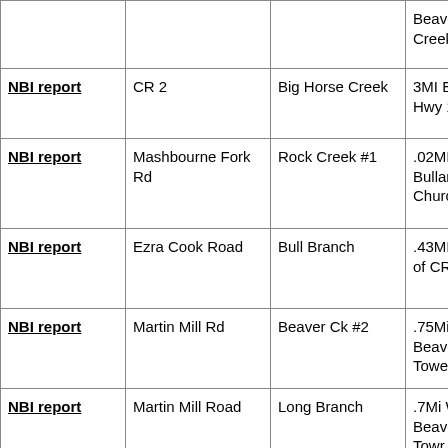|  |  |  |  |
| --- | --- | --- | --- |
|  |  |  | Beaver Creek |
| NBI report | CR 2 | Big Horse Creek | 3MI E of Hwy 189 |
| NBI report | Mashbourne Fork Rd | Rock Creek #1 | .02MI E of Bullard Church |
| NBI report | Ezra Cook Road | Bull Branch | .43MI North of CR 180 |
| NBI report | Martin Mill Rd | Beaver Ck #2 | .75Mi W Beaver Crk Tower |
| NBI report | Martin Mill Road | Long Branch | .7Mi W of Beaver Crk Towr |
| NBI report | Old Dorcas Road | Pond Creek | .7 MI W of |